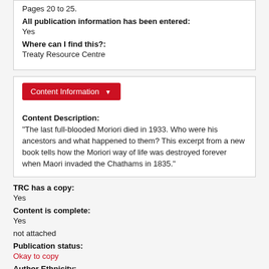Pages 20 to 25.
All publication information has been entered:
Yes
Where can I find this?:
Treaty Resource Centre
Content Information
Content Description:
"The last full-blooded Moriori died in 1933. Who were his ancestors and what happened to them? This excerpt from a new book tells how the Moriori way of life was destroyed forever when Maori invaded the Chathams in 1835."
TRC has a copy:
Yes
Content is complete:
Yes
not attached
Publication status:
Okay to copy
Author Ethnicity: